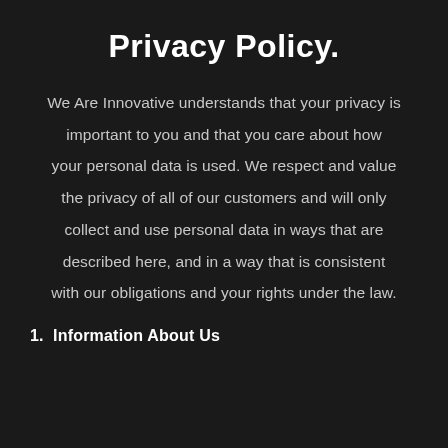Privacy Policy.
We Are Innovative understands that your privacy is important to you and that you care about how your personal data is used. We respect and value the privacy of all of our customers and will only collect and use personal data in ways that are described here, and in a way that is consistent with our obligations and your rights under the law.
1. Information About Us